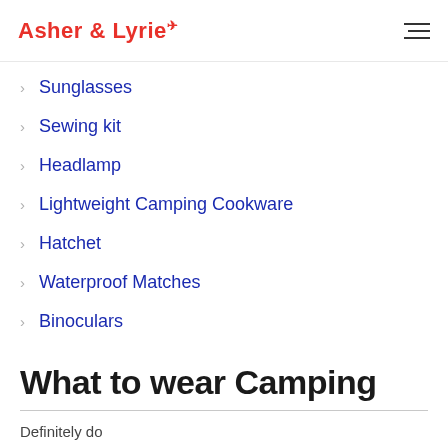Asher & Lyrie (with plane icon) — navigation header
Sunglasses
Sewing kit
Headlamp
Lightweight Camping Cookware
Hatchet
Waterproof Matches
Binoculars
What to wear Camping
Definitely do